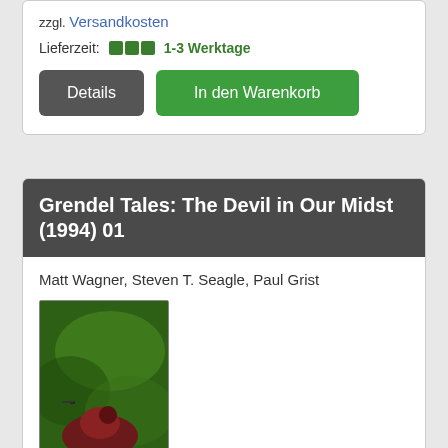zzgl. Versandkosten
Lieferzeit: 1-3 Werktage
Details | In den Warenkorb
Grendel Tales: The Devil in Our Midst (1994) 01
Matt Wagner, Steven T. Seagle, Paul Grist
[Figure (photo): Comic book cover for Grendel Tales: The Devil in Our Midst (1994) 01. Green/dark background with GRENDEL title text in yellow-green, a figure in red/brown at the bottom, and 'THE DEVIL IN OUR MIDST' text at the bottom.]